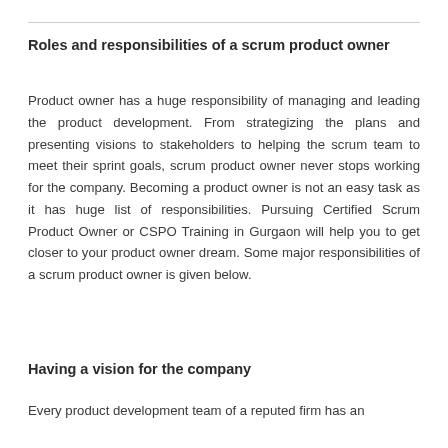Roles and responsibilities of a scrum product owner
Product owner has a huge responsibility of managing and leading the product development. From strategizing the plans and presenting visions to stakeholders to helping the scrum team to meet their sprint goals, scrum product owner never stops working for the company. Becoming a product owner is not an easy task as it has huge list of responsibilities. Pursuing Certified Scrum Product Owner or CSPO Training in Gurgaon will help you to get closer to your product owner dream. Some major responsibilities of a scrum product owner is given below.
Having a vision for the company
Every product development team of a reputed firm has an